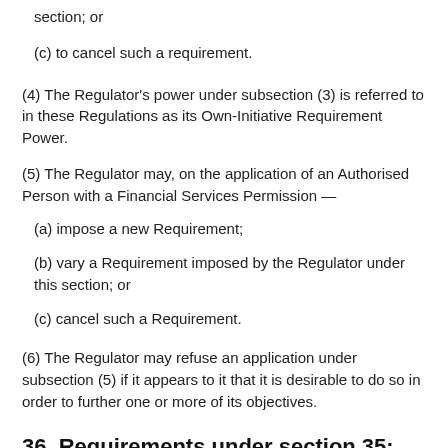section; or
(c) to cancel such a requirement.
(4) The Regulator's power under subsection (3) is referred to in these Regulations as its Own-Initiative Requirement Power.
(5) The Regulator may, on the application of an Authorised Person with a Financial Services Permission —
(a) impose a new Requirement;
(b) vary a Requirement imposed by the Regulator under this section; or
(c) cancel such a Requirement.
(6) The Regulator may refuse an application under subsection (5) if it appears to it that it is desirable to do so in order to further one or more of its objectives.
36. Requirements under section 35: further